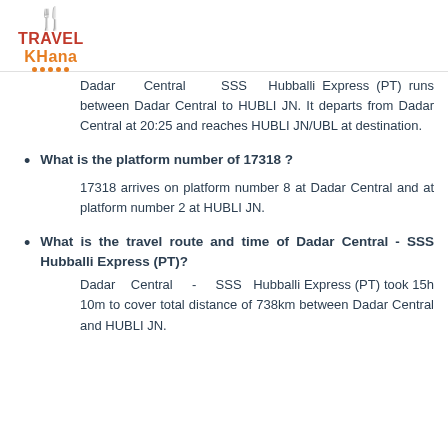TravelKhana logo
Dadar Central SSS Hubballi Express (PT) runs between Dadar Central to HUBLI JN. It departs from Dadar Central at 20:25 and reaches HUBLI JN/UBL at destination.
What is the platform number of 17318 ?
17318 arrives on platform number 8 at Dadar Central and at platform number 2 at HUBLI JN.
What is the travel route and time of Dadar Central - SSS Hubballi Express (PT)?
Dadar Central - SSS Hubballi Express (PT) took 15h 10m to cover total distance of 738km between Dadar Central and HUBLI JN.